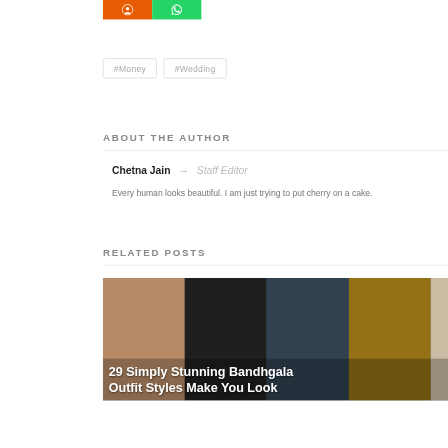[Figure (other): Two social sharing buttons: orange button with a circular icon and green button with WhatsApp icon]
#Money   #Wedding
ABOUT THE AUTHOR
Chetna Jain  →  Staff Editor
Every human looks beautiful. I am just trying to put cherry on a cake.
RELATED POSTS
[Figure (photo): Composite photo of five male models wearing Bandhgala outfits on a runway or photoshoot. White text overlay reads: 29 Simply Stunning Bandhgala Outfit Styles Make You Look]